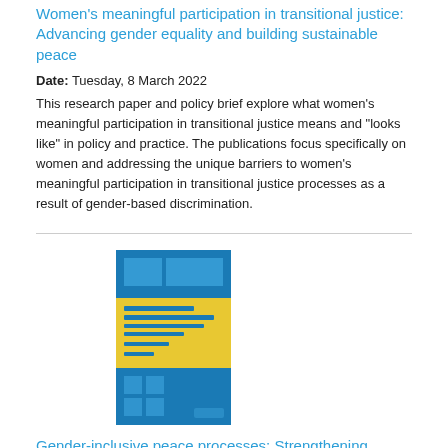Women's meaningful participation in transitional justice: Advancing gender equality and building sustainable peace
Date: Tuesday, 8 March 2022
This research paper and policy brief explore what women's meaningful participation in transitional justice means and "looks like" in policy and practice. The publications focus specifically on women and addressing the unique barriers to women's meaningful participation in transitional justice processes as a result of gender-based discrimination.
[Figure (illustration): Book cover for 'Gender-inclusive peace processes: Strengthening women's meaningful participation through constituency building' — blue and yellow cover design]
Gender-inclusive peace processes: Strengthening women's meaningful participation through constituency building
Date: Tuesday, 26 October 2021
This report on the proceedings of the global conference "Gender-inclusive peace processes: Strengthening women's meaningful